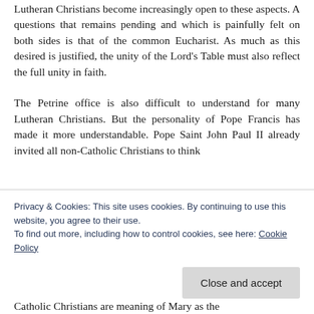Lutheran Christians become increasingly open to these aspects. A questions that remains pending and which is painfully felt on both sides is that of the common Eucharist. As much as this desired is justified, the unity of the Lord's Table must also reflect the full unity in faith.
The Petrine office is also difficult to understand for many Lutheran Christians. But the personality of Pope Francis has made it more understandable. Pope Saint John Paul II already invited all non-Catholic Christians to think
Privacy & Cookies: This site uses cookies. By continuing to use this website, you agree to their use.
To find out more, including how to control cookies, see here: Cookie Policy
Close and accept
Catholic Christians are meaning of Mary as the